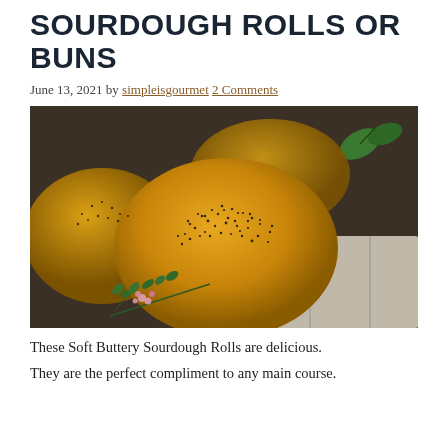SOURDOUGH ROLLS OR BUNS
June 13, 2021 by simpleisgourmet 2 Comments
[Figure (photo): Close-up photo of golden sourdough rolls/buns topped with black poppy seeds, with sprigs of thyme and small pink flowers in the foreground and a grey linen cloth in the background.]
These Soft Buttery Sourdough Rolls are delicious.
They are the perfect compliment to any main course.